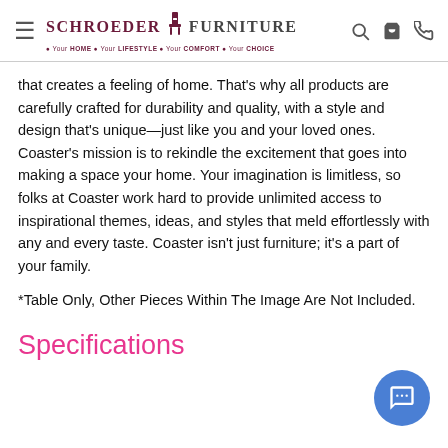Schroeder Furniture • Your HOME • Your LIFESTYLE • Your COMFORT • Your CHOICE
that creates a feeling of home. That's why all products are carefully crafted for durability and quality, with a style and design that's unique—just like you and your loved ones. Coaster's mission is to rekindle the excitement that goes into making a space your home. Your imagination is limitless, so folks at Coaster work hard to provide unlimited access to inspirational themes, ideas, and styles that meld effortlessly with any and every taste. Coaster isn't just furniture; it's a part of your family.
*Table Only, Other Pieces Within The Image Are Not Included.
Specifications